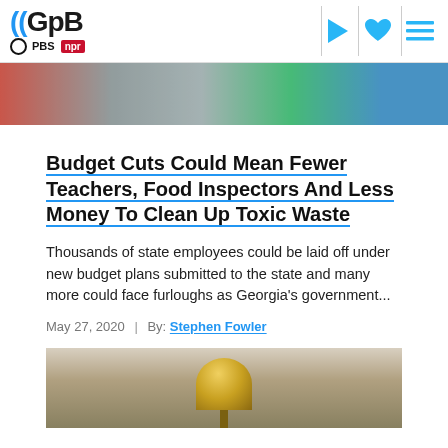GPB | PBS | NPR navigation header with play, favorite, and menu icons
[Figure (photo): Top cropped photo showing the backs of several people's heads in a crowd setting]
Budget Cuts Could Mean Fewer Teachers, Food Inspectors And Less Money To Clean Up Toxic Waste
Thousands of state employees could be laid off under new budget plans submitted to the state and many more could face furloughs as Georgia's government...
May 27, 2020  |  By: Stephen Fowler
[Figure (photo): Bottom photo showing the golden dome of a government building (likely Georgia State Capitol)]